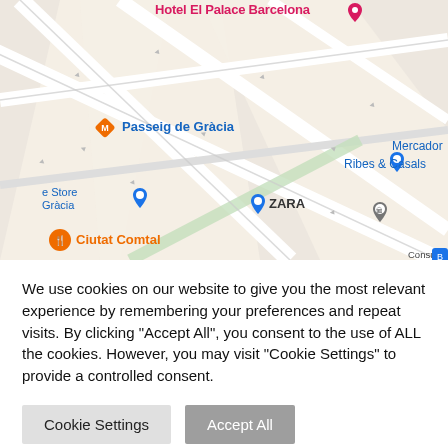[Figure (map): Google Maps view of Passeig de Gràcia area in Barcelona, Spain. Shows streets in a diagonal grid pattern with labels: Hotel El Palace Barcelona (pink), Passeig de Gràcia (metro, orange diamond), Ribes & Casals (blue pin), Mercador (partial), ZARA (blue pin), Consulado General de la República Bolivariana... (gray pin), Urquinaona (orange diamond), Passeig de Gràcia (teal pin), El Corte Inglés (blue pin), Honest Greens (orange fork/restaurant), Palau de la Música Catalana (teal text), Ciutat Comtal (orange restaurant pin), e Store Gràcia (blue pin). Streets with arrows indicating traffic direction.]
We use cookies on our website to give you the most relevant experience by remembering your preferences and repeat visits. By clicking "Accept All", you consent to the use of ALL the cookies. However, you may visit "Cookie Settings" to provide a controlled consent.